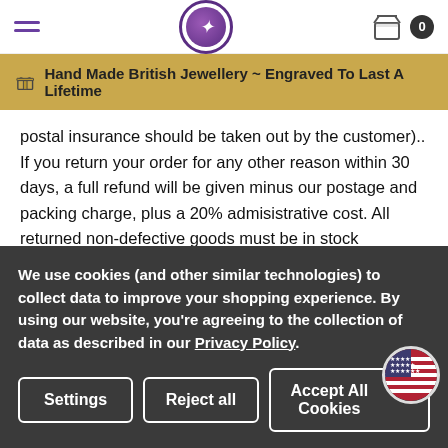Hand Made British Jewellery ~ Engraved To Last A Lifetime
postal insurance should be taken out by the customer).. If you return your order for any other reason within 30 days, a full refund will be given minus our postage and packing charge, plus a 20% admisistrative cost. All returned non-defective goods must be in stock condition and in the original packaging. Please note Engraved goods cannot be returned unless faulty and must be returned within 30 days of receiving your order. In the circumstance where we try to deliver your gift but an incorrect delivery address has been entered on
We use cookies (and other similar technologies) to collect data to improve your shopping experience. By using our website, you're agreeing to the collection of data as described in our Privacy Policy.
Settings
Reject all
Accept All Cookies